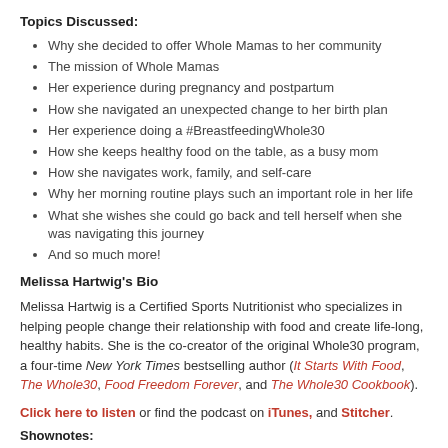Topics Discussed:
Why she decided to offer Whole Mamas to her community
The mission of Whole Mamas
Her experience during pregnancy and postpartum
How she navigated an unexpected change to her birth plan
Her experience doing a #BreastfeedingWhole30
How she keeps healthy food on the table, as a busy mom
How she navigates work, family, and self-care
Why her morning routine plays such an important role in her life
What she wishes she could go back and tell herself when she was navigating this journey
And so much more!
Melissa Hartwig's Bio
Melissa Hartwig is a Certified Sports Nutritionist who specializes in helping people change their relationship with food and create life-long, healthy habits. She is the co-creator of the original Whole30 program, a four-time New York Times bestselling author (It Starts With Food, The Whole30, Food Freedom Forever, and The Whole30 Cookbook).
Click here to listen or find the podcast on iTunes, and Stitcher.
Shownotes: